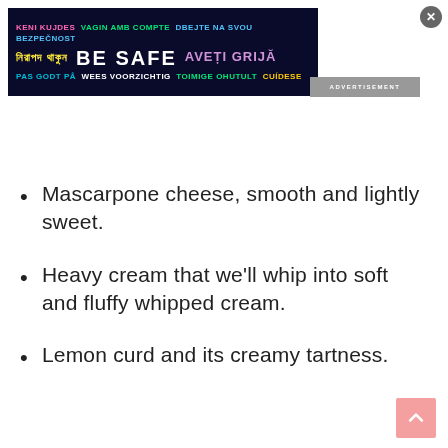[Figure (infographic): Multilingual 'BE SAFE' advertisement banner on dark navy background with text in multiple languages and colors]
Mascarpone cheese, smooth and lightly sweet.
Heavy cream that we'll whip into soft and fluffy whipped cream.
Lemon curd and its creamy tartness.